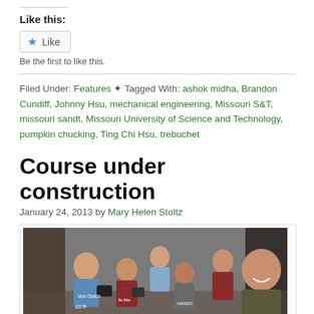Like this:
Like
Be the first to like this.
Filed Under: Features ✦ Tagged With: ashok midha, Brandon Cundiff, Johnny Hsu, mechanical engineering, Missouri S&T, missouri sandt, Missouri University of Science and Technology, pumpkin chucking, Ting Chi Hsu, trebuchet
Course under construction
January 24, 2013 by Mary Helen Stoltz
[Figure (photo): A professor smiling at the camera with a group of students looking at tablets or books in the background, in a classroom or hallway setting.]